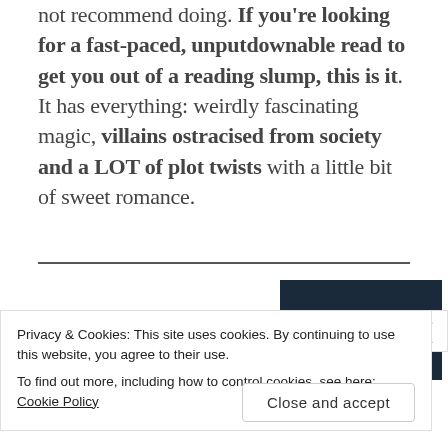not recommend doing. If you're looking for a fast-paced, unputdownable read to get you out of a reading slump, this is it. It has everything: weirdly fascinating magic, villains ostracised from society and a LOT of plot twists with a little bit of sweet romance.
[Figure (photo): Book cover image with dark background showing text referencing 'An Ember in the Ashes' NYT bestseller]
Privacy & Cookies: This site uses cookies. By continuing to use this website, you agree to their use.
To find out more, including how to control cookies, see here: Cookie Policy
Close and accept